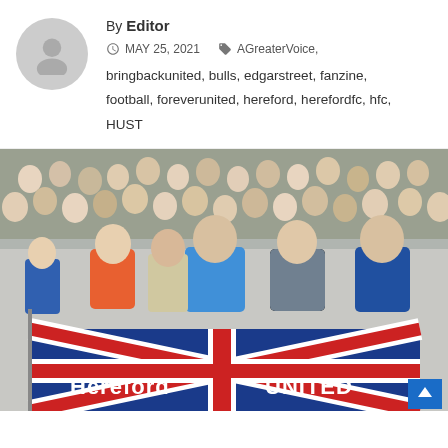By Editor
MAY 25, 2021  AGreaterVoice, bringbackunited, bulls, edgarstreet, fanzine, football, foreverunited, hereford, herefordfc, hfc, HUST
[Figure (photo): Crowd of football supporters at a stadium, holding a Union Jack flag with 'HEREFORD UNITED' printed on it.]